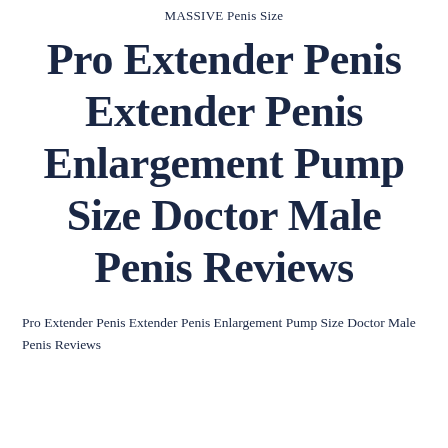MASSIVE Penis Size
Pro Extender Penis Extender Penis Enlargement Pump Size Doctor Male Penis Reviews
Pro Extender Penis Extender Penis Enlargement Pump Size Doctor Male Penis Reviews